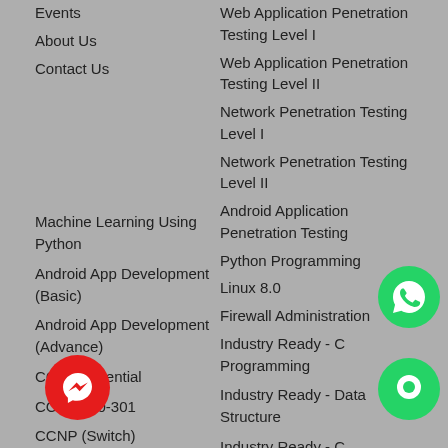Events
About Us
Contact Us
Web Application Penetration Testing Level I
Web Application Penetration Testing Level II
Network Penetration Testing Level I
Network Penetration Testing Level II
Android Application Penetration Testing
Python Programming
Linux 8.0
Firewall Administration
Machine Learning Using Python
Industry Ready - C Programming
Android App Development (Basic)
Industry Ready - Data Structure
Android App Development (Advance)
Industry Ready - C Programming+Data Structure Combo Course
CCNA Essential
Industry Ready - RDBMS
CCNA 200-301
Industry Ready - Core Java
CCNP (Switch)
Industry Ready - Advanced
CCNP (Route)